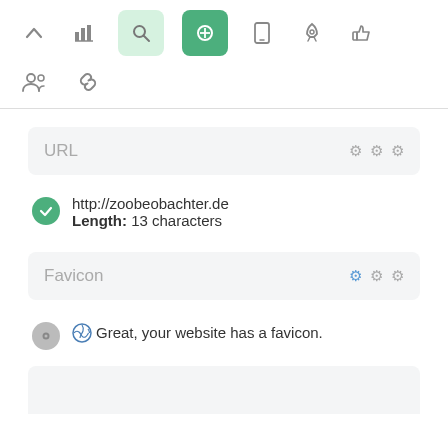[Figure (screenshot): Toolbar row with icons: up arrow, bar chart, search (light green bg), pointer/cursor (dark green bg), mobile phone, rocket, thumbs up]
[Figure (screenshot): Second toolbar row with icons: group/people, chain/link]
URL  ⚙ ⚙ ⚙
http://zoobeobachter.de
Length: 13 characters
Favicon  ⚙ ⚙ ⚙
Great, your website has a favicon.